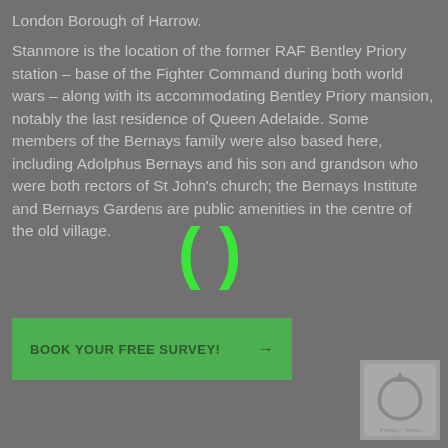London Borough of Harrow.
Stanmore is the location of the former RAF Bentley Priory station – base of the Fighter Command during both world wars – along with its accommodating Bentley Priory mansion, notably the last residence of Queen Adelaide. Some members of the Bernays family were also based here, including Adolphus Bernays and his son and grandson who were both rectors of St John's church; the Bernays Institute and Bernays Gardens are public amenities in the centre of the old village.
BOOK YOUR FREE SURVEY! →
[Figure (other): reCAPTCHA verification widget in bottom right corner]